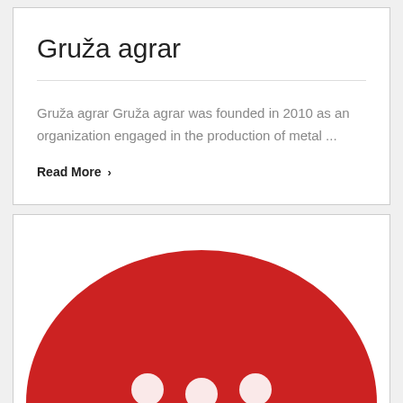Gruža agrar
Gruža agrar Gruža agrar was founded in 2010 as an organization engaged in the production of metal ...
Read More >
[Figure (illustration): Red semicircular shape (logo or decorative graphic) with white dots visible at the bottom, partially cropped at the bottom of the page]